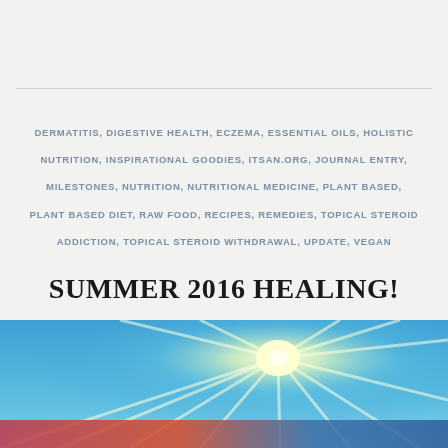DERMATITIS, DIGESTIVE HEALTH, ECZEMA, ESSENTIAL OILS, HOLISTIC NUTRITION, INSPIRATIONAL GOODIES, ITSAN.ORG, JOURNAL ENTRY, MILESTONES, NUTRITION, NUTRITIONAL MEDICINE, PLANT BASED, PLANT BASED DIET, RAW FOOD, RECIPES, REMEDIES, TOPICAL STEROID ADDICTION, TOPICAL STEROID WITHDRAWAL, UPDATE, VEGAN
SUMMER 2016 HEALING!
SEPTEMBER 22, 2016   7 COMMENTS
[Figure (photo): Sunburst or sun rays photograph with blue sky, showing bright white and yellow light rays emanating from a central point, with red and blue gradient tones at the bottom.]